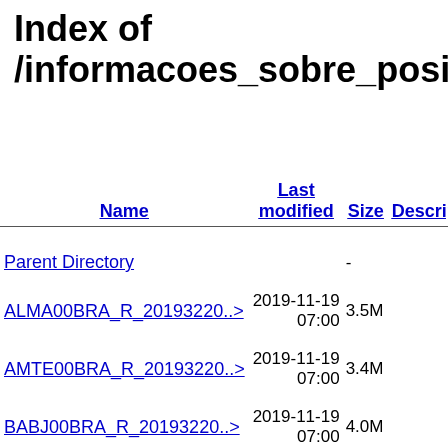Index of /informacoes_sobre_posicioname
| Name | Last modified | Size | Description |
| --- | --- | --- | --- |
| Parent Directory |  | - |  |
| ALMA00BRA_R_20193220..> | 2019-11-19 07:00 | 3.5M |  |
| AMTE00BRA_R_20193220..> | 2019-11-19 07:00 | 3.4M |  |
| BABJ00BRA_R_20193220..> | 2019-11-19 07:00 | 4.0M |  |
| BAPA00BRA_R_20193220..> | 2019-11-19 07:00 | 4.1M |  |
| BELE00BRA_R_20193220..> | 2019-11-19 07:00 | 4.2M |  |
| BOAV00BRA_R_20193220..> | 2019-11-19 07:00 | 4.2M |  |
| BRAZ00BRA_R_20193220..> | 2019-11-19 | 3.2M |  |